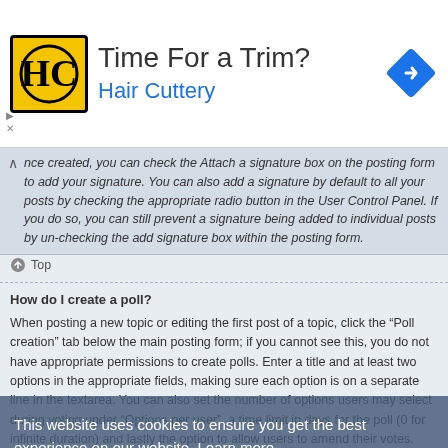[Figure (screenshot): Ad banner for Hair Cuttery: logo, title 'Time For a Trim?', subtitle 'Hair Cuttery', and a blue diamond navigation arrow icon on the right.]
nce created, you can check the Attach a signature box on the posting form to add your signature. You can also add a signature by default to all your posts by checking the appropriate radio button in the User Control Panel. If you do so, you can still prevent a signature being added to individual posts by un-checking the add signature box within the posting form.
Top
How do I create a poll?
When posting a new topic or editing the first post of a topic, click the “Poll creation” tab below the main posting form; if you cannot see this, you do not have appropriate permissions to create polls. Enter a title and at least two options in the appropriate fields, making sure each option is on a separate line in the textarea. You can also set the number of options users may select during voting under “Options per user”, a time limit in days for the poll (0 for infinite duration) and lastly the option to allow users to amend their votes.
Top
Why can’t I add more poll options?
The limit for poll options is set by the board administrator. If you feel you need to add more options to your poll than the allowed amount, contact the board
This website uses cookies to ensure you get the best experience on our website. Learn more
Got it!